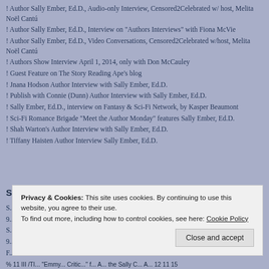! Author Sally Ember, Ed.D., Audio-only Interview, Censored2Celebrated w/ host, Melita Noël Cantú
! Author Sally Ember, Ed.D., Interview on "Authors Interviews" with Fiona McVie
! Author Sally Ember, Ed.D., Video Conversations, Censored2Celebrated w/host, Melita Noël Cantú
! Authors Show Interview April 1, 2014, only with Don McCauley
! Guest Feature on The Story Reading Ape's blog
! Jnana Hodson Author Interview with Sally Ember, Ed.D.
! Publish with Connie (Dunn) Author Interview with Sally Ember, Ed.D.
! Sally Ember, Ed.D., interview on Fantasy & Sci-Fi Network, by Kasper Beaumont
! Sci-Fi Romance Brigade "Meet the Author Monday" features Sally Ember, Ed.D.
! Shah Warton's Author Interview with Sally Ember, Ed.D.
! Tiffany Haisten Author Interview Sally Ember, Ed.D.
SITES FEATURING IS-IS NOT
S...
9...
S...
9...
F...
Privacy & Cookies: This site uses cookies. By continuing to use this website, you agree to their use. To find out more, including how to control cookies, see here: Cookie Policy
% 11 III /TI... "Emmy... Critic..." f... A... the Sally C... A... 12 11 15